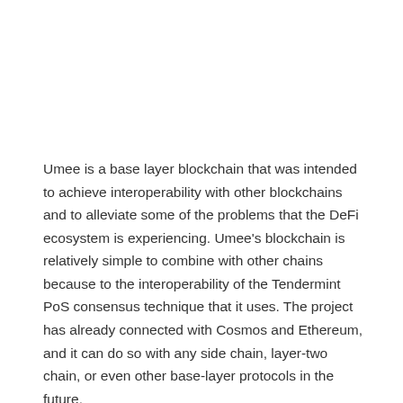Umee is a base layer blockchain that was intended to achieve interoperability with other blockchains and to alleviate some of the problems that the DeFi ecosystem is experiencing. Umee's blockchain is relatively simple to combine with other chains because to the interoperability of the Tendermint PoS consensus technique that it uses. The project has already connected with Cosmos and Ethereum, and it can do so with any side chain, layer-two chain, or even other base-layer protocols in the future.
Visit our Investing in Umee guide to learn more about this